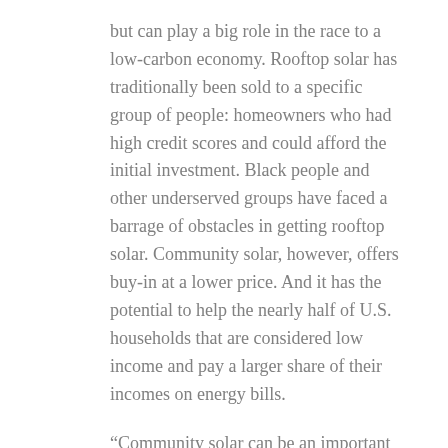but can play a big role in the race to a low-carbon economy. Rooftop solar has traditionally been sold to a specific group of people: homeowners who had high credit scores and could afford the initial investment. Black people and other underserved groups have faced a barrage of obstacles in getting rooftop solar. Community solar, however, offers buy-in at a lower price. And it has the potential to help the nearly half of U.S. households that are considered low income and pay a larger share of their incomes on energy bills.
“Community solar can be an important answer to who gets to participate and benefit in the energy transition,” says Gabriel Chan, assistant professor at the University of Minnesota’s Humphrey School of Public Affairs, who researches policies on energy technology innovation to help mitigate climate change. “It can address the energy burden of low-income residents.”
esides benefitting renters and those living in properties